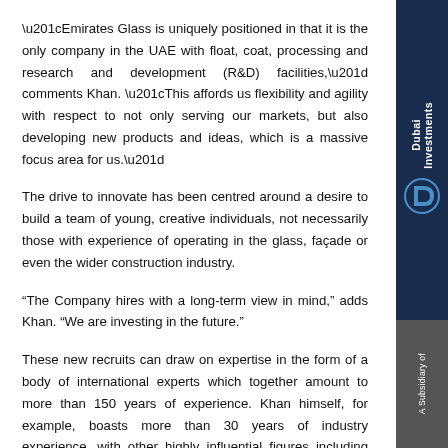“Emirates Glass is uniquely positioned in that it is the only company in the UAE with float, coat, processing and research and development (R&D) facilities,” comments Khan. “This affords us flexibility and agility with respect to not only serving our markets, but also developing new products and ideas, which is a massive focus area for us.”
The drive to innovate has been centred around a desire to build a team of young, creative individuals, not necessarily those with experience of operating in the glass, façade or even the wider construction industry.
“The Company hires with a long-term view in mind,” adds Khan. “We are investing in the future.”
These new recruits can draw on expertise in the form of a body of international experts which together amount to more than 150 years of experience. Khan himself, for example, boasts more than 30 years of industry experience, with other highly influential figures including Senior Vice President of Sales and
[Figure (logo): Dubai Investments logo on dark navy sidebar with D symbol and 'A Subsidiary of' text on grey lower section]